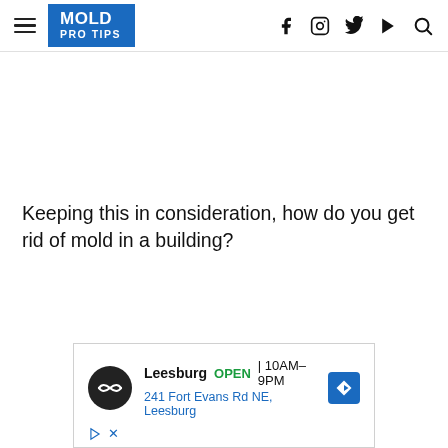MOLD PRO TIPS
Keeping this in consideration, how do you get rid of mold in a building?
[Figure (screenshot): Advertisement for a store in Leesburg showing location info: OPEN 10AM-9PM, 241 Fort Evans Rd NE, Leesburg, with navigation icon and store logo]